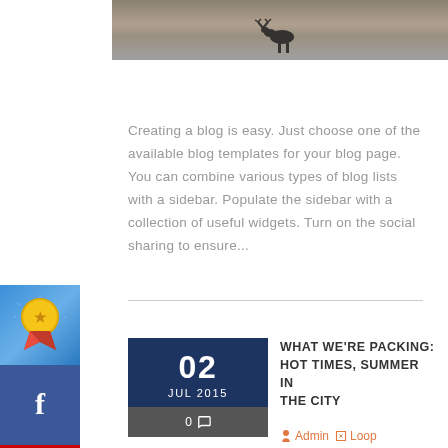[Figure (photo): Top image strip showing a dark silhouette of a moose/animal on water, sepia/gray toned]
Creating a blog is easy. Just choose one of the available blog templates for your blog page. You can combine various types of blog lists with a sidebar. Populate the sidebar with a collection of useful widgets. Turn on the social sharing to ensure...
[Figure (logo): Award ribbon icon - blue background with gold/red ribbon badge]
[Figure (logo): Facebook icon - blue square with white 'f']
[Figure (logo): YouTube icon - red square with white play button]
WHAT WE'RE PACKING: HOT TIMES, SUMMER IN THE CITY
0 comments  Admin  Loop